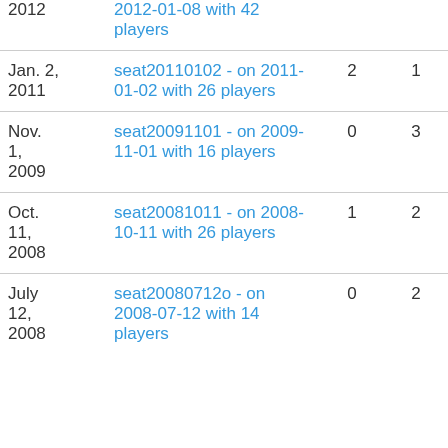| 2012 | 2012-01-08 with 42 players |  |  |
| Jan. 2, 2011 | seat20110102 - on 2011-01-02 with 26 players | 2 | 1 |
| Nov. 1, 2009 | seat20091101 - on 2009-11-01 with 16 players | 0 | 3 |
| Oct. 11, 2008 | seat20081011 - on 2008-10-11 with 26 players | 1 | 2 |
| July 12, 2008 | seat20080712o - on 2008-07-12 with 14 players | 0 | 2 |